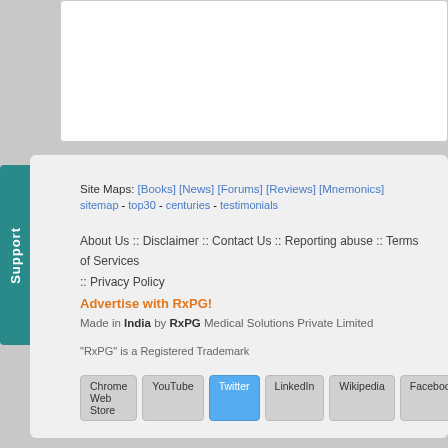Site Maps: [Books] [News] [Forums] [Reviews] [Mnemonics]
sitemap - top30 - centuries - testimonials
About Us :: Disclaimer :: Contact Us :: Reporting abuse :: Terms of Services :: Privacy Policy
Advertise with RxPG!
Made in India by RxPG Medical Solutions Private Limited
"RxPG" is a Registered Trademark
Chrome Web Store  YouTube  Twitter  LinkedIn  Wikipedia  Facebook